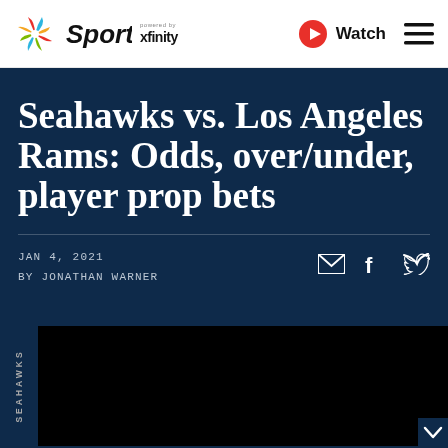NBC Sports powered by xfinity — Watch
Seahawks vs. Los Angeles Rams: Odds, over/under, player prop bets
JAN 4, 2021
BY JONATHAN WARNER
[Figure (photo): Black image placeholder for article photo, with SEAHAWKS vertical sidebar label]
[Figure (photo): Bottom thumbnail strip partially visible]